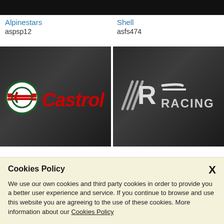[Figure (screenshot): Dark background cropped image top-left (Alpinestars product)]
Alpinestars
aspsp12
[Figure (screenshot): Dark background cropped image top-right (Shell product)]
Shell
asfs474
[Figure (logo): Castrol logo on dark metallic background]
[Figure (logo): RC Racing logo on dark metallic background]
Cookies Policy
We use our own cookies and third party cookies in order to provide you a better user experience and service. If you continue to browse and use this website you are agreeing to the use of these cookies. More information about our Cookies Policy